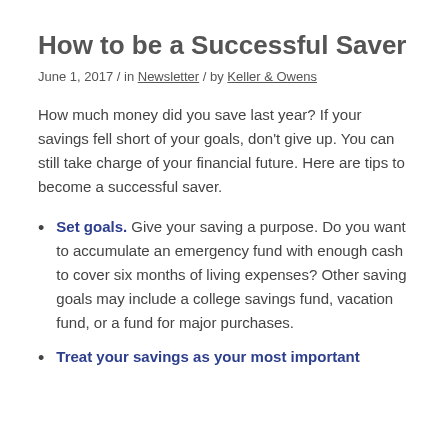How to be a Successful Saver
June 1, 2017 / in Newsletter / by Keller & Owens
How much money did you save last year? If your savings fell short of your goals, don't give up. You can still take charge of your financial future. Here are tips to become a successful saver.
Set goals. Give your saving a purpose. Do you want to accumulate an emergency fund with enough cash to cover six months of living expenses? Other saving goals may include a college savings fund, vacation fund, or a fund for major purchases.
Treat your savings as your most important